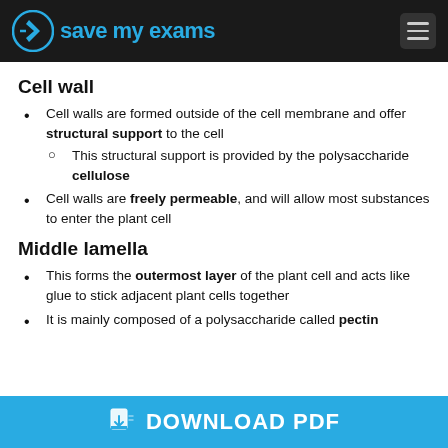Save My Exams
Cell wall
Cell walls are formed outside of the cell membrane and offer structural support to the cell
This structural support is provided by the polysaccharide cellulose
Cell walls are freely permeable, and will allow most substances to enter the plant cell
Middle lamella
This forms the outermost layer of the plant cell and acts like glue to stick adjacent plant cells together
It is mainly composed of a polysaccharide called pectin
DOWNLOAD PDF